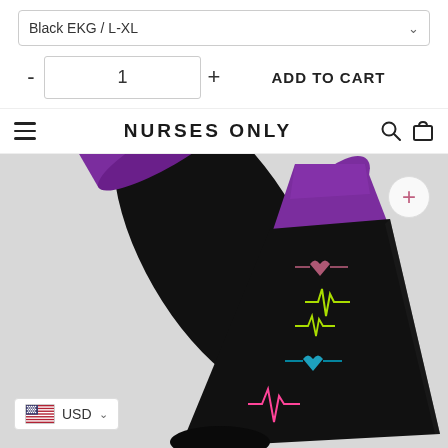Black EKG / L-XL
- 1 + ADD TO CART
NURSES ONLY
[Figure (photo): Black compression sock with colorful EKG/heartbeat pattern and purple cuff top, displayed at an angle against light background]
USD